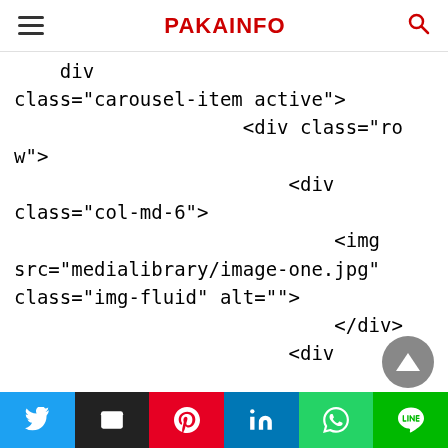PAKAINFO
div
class="carousel-item active">
                    <div class="row">
                        <div
class="col-md-6">
                            <img
src="medialibrary/image-one.jpg"
class="img-fluid" alt="">
                            </div>
                        <div
class="col-md-6">
                            <h3>Where
can I find Tamilrockers proxy?</h3>
Twitter Email Pinterest LinkedIn WhatsApp LINE